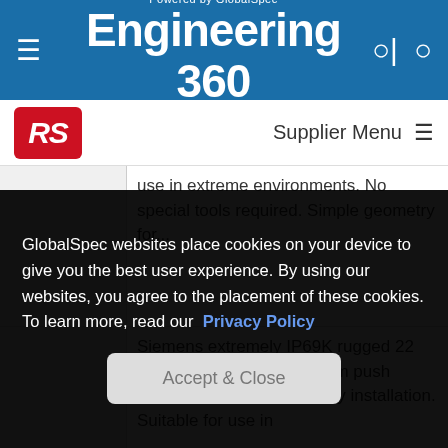Engineering 360 — Powered by GlobalSpec
[Figure (logo): RS Components supplier logo]
Supplier Menu
use in extreme environments. No special tools required. Simple geometry for...
Siemens extremely IP69K rugged 22 mm metal e-stop mushroom push button complete units. Easy installation. Suitable for use in
8741807
GlobalSpec websites place cookies on your device to give you the best user experience. By using our websites, you agree to the placement of these cookies. To learn more, read our Privacy Policy
Accept & Close